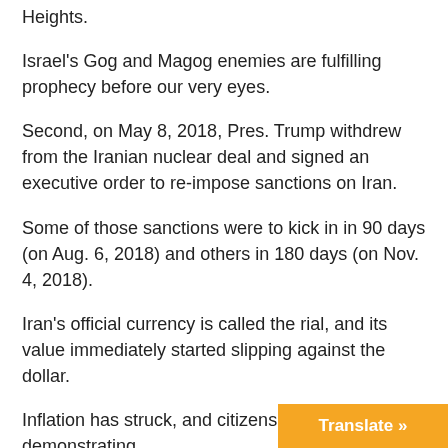Heights.
Israel's Gog and Magog enemies are fulfilling prophecy before our very eyes.
Second, on May 8, 2018, Pres. Trump withdrew from the Iranian nuclear deal and signed an executive order to re-impose sanctions on Iran.
Some of those sanctions were to kick in in 90 days (on Aug. 6, 2018) and others in 180 days (on Nov. 4, 2018).
Iran's official currency is called the rial, and its value immediately started slipping against the dollar.
Inflation has struck, and citizens are demonstrating.
Russia is struggling economically due to three years of low oil prices, sanctions imposed over her 2014 annexation of Crimea, corruption, negative population growth, propping up Syria, and more.